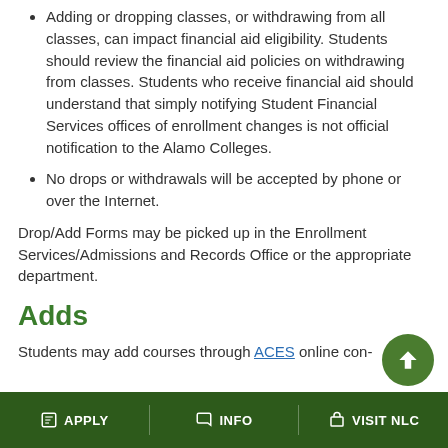Adding or dropping classes, or withdrawing from all classes, can impact financial aid eligibility. Students should review the financial aid policies on withdrawing from classes. Students who receive financial aid should understand that simply notifying Student Financial Services offices of enrollment changes is not official notification to the Alamo Colleges.
No drops or withdrawals will be accepted by phone or over the Internet.
Drop/Add Forms may be picked up in the Enrollment Services/Admissions and Records Office or the appropriate department.
Adds
Students may add courses through ACES online con-
APPLY   INFO   VISIT NLC